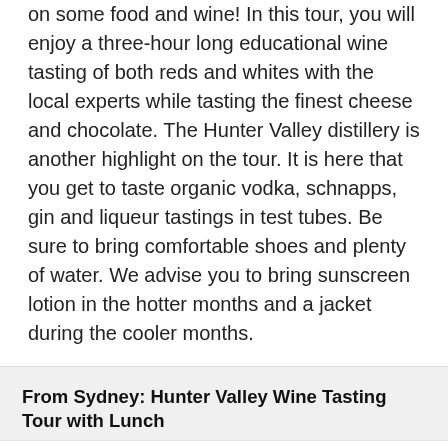on some food and wine! In this tour, you will enjoy a three-hour long educational wine tasting of both reds and whites with the local experts while tasting the finest cheese and chocolate. The Hunter Valley distillery is another highlight on the tour. It is here that you get to taste organic vodka, schnapps, gin and liqueur tastings in test tubes. Be sure to bring comfortable shoes and plenty of water. We advise you to bring sunscreen lotion in the hotter months and a jacket during the cooler months.
From Sydney: Hunter Valley Wine Tasting Tour with Lunch
Duration: 11 hour